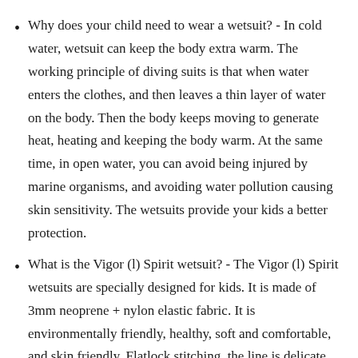Why does your child need to wear a wetsuit? - In cold water, wetsuit can keep the body extra warm. The working principle of diving suits is that when water enters the clothes, and then leaves a thin layer of water on the body. Then the body keeps moving to generate heat, heating and keeping the body warm. At the same time, in open water, you can avoid being injured by marine organisms, and avoiding water pollution causing skin sensitivity. The wetsuits provide your kids a better protection.
What is the Vigor (l) Spirit wetsuit? - The Vigor (l) Spirit wetsuits are specially designed for kids. It is made of 3mm neoprene + nylon elastic fabric. It is environmentally friendly, healthy, soft and comfortable, and skin friendly. Flatlock stitching, the line is delicate and neat. Vigor (l) Spirit full kids wetsuits can keep the body warm, help your child float more easily in the water, and help your child master swimming and